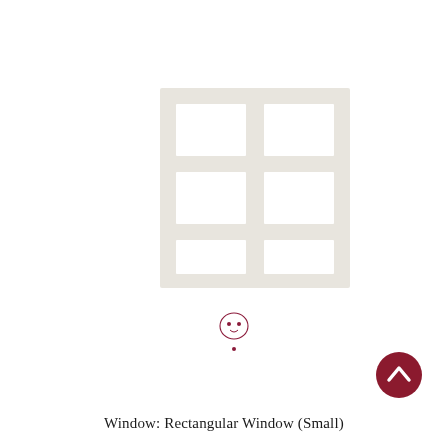[Figure (schematic): Rectangular window (small) schematic diagram showing a 6-pane window grid (2 columns x 3 rows) with thick off-white/cream colored frame and mullions on a white background]
[Figure (logo): Small decorative logo/stamp mark in dark red/maroon color, appears to be a stylized character or brand mark with a bow detail]
[Figure (other): Dark red/maroon circular button with a white upward-pointing chevron/caret arrow, appears to be a 'back to top' navigation button]
Window: Rectangular Window (Small)